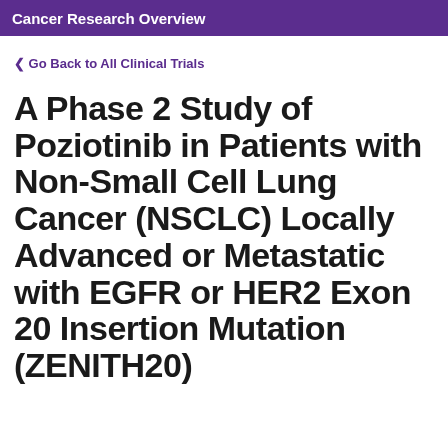Cancer Research Overview
‹ Go Back to All Clinical Trials
A Phase 2 Study of Poziotinib in Patients with Non-Small Cell Lung Cancer (NSCLC) Locally Advanced or Metastatic with EGFR or HER2 Exon 20 Insertion Mutation (ZENITH20)